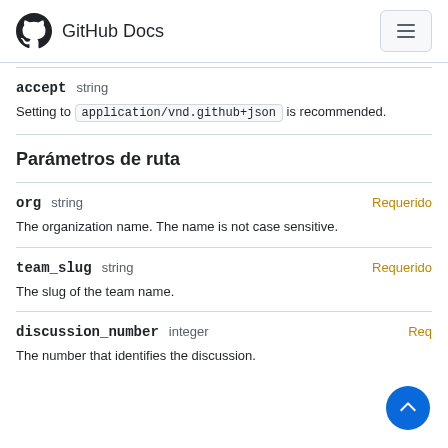GitHub Docs
accept   string
Setting to application/vnd.github+json is recommended.
Parámetros de ruta
org   string   Requerido
The organization name. The name is not case sensitive.
team_slug   string   Requerido
The slug of the team name.
discussion_number   integer   Requerido
The number that identifies the discussion.